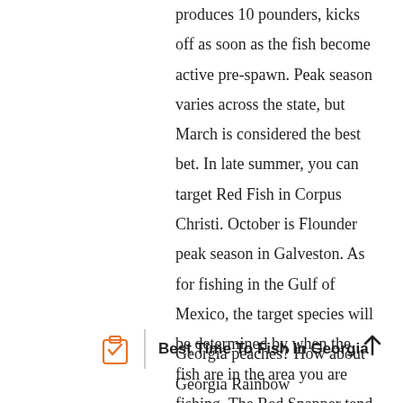produces 10 pounders, kicks off as soon as the fish become active pre-spawn. Peak season varies across the state, but March is considered the best bet. In late summer, you can target Red Fish in Corpus Christi. October is Flounder peak season in Galveston. As for fishing in the Gulf of Mexico, the target species will be determined by when the fish are in the area you are fishing. The Red Snapper tend to stick around most of the year, but the Mahi, or Dolphin, move through periodically.
Best Time To Fish In Georgia
Georgia peaches? How about Georgia Rainbow